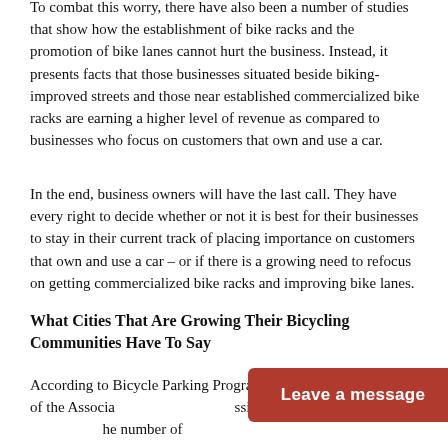To combat this worry, there have also been a number of studies that show how the establishment of bike racks and the promotion of bike lanes cannot hurt the business. Instead, it presents facts that those businesses situated beside biking-improved streets and those near established commercialized bike racks are earning a higher level of revenue as compared to businesses who focus on customers that own and use a car.
In the end, business owners will have the last call. They have every right to decide whether or not it is best for their businesses to stay in their current track of placing importance on customers that own and use a car – or if there is a growing need to refocus on getting commercialized bike racks and improving bike lanes.
What Cities That Are Growing Their Bicycling Communities Have To Say
According to Bicycle Parking Program Manager Nathan Broom of the Associa[...] ssionals, there is a shre[...] he number of